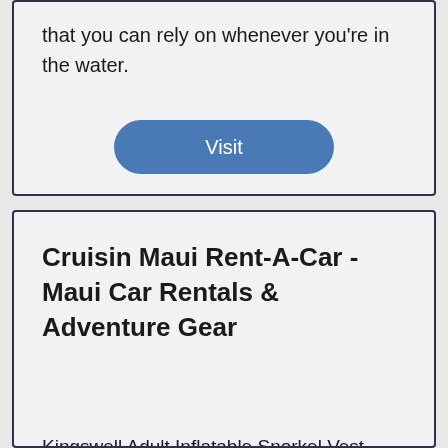that you can rely on whenever you're in the water.
Visit
Cruisin Maui Rent-A-Car - Maui Car Rentals & Adventure Gear
Kingswell Adult Inflatable Snorkel Vest. The Kingswell Adult Inflatable Snorkel Vest is a high quality snorkeling gear that is made from the durable 210 D polyester fabric with a thickened PVC inner section. The vest